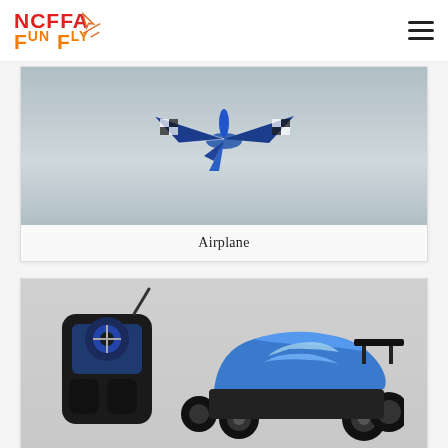NCFFA Fun Fly
[Figure (photo): RC airplane with blue and white checkered pattern flying in the sky]
Airplane
[Figure (photo): RC buggy car with blue body and remote controller on gray background]